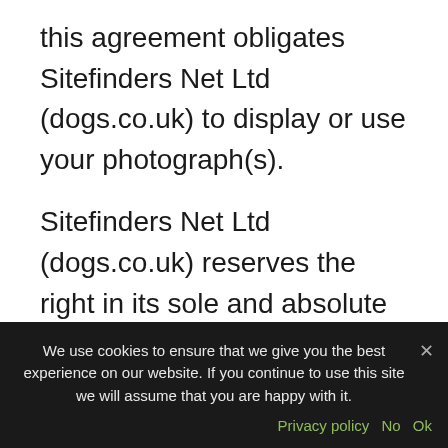this agreement obligates Sitefinders Net Ltd (dogs.co.uk) to display or use your photograph(s).
Sitefinders Net Ltd (dogs.co.uk) reserves the right in its sole and absolute discretion to alter these terms at any time for any reason without prior notice, or to terminate the Photo Upload Service for any reason at any time without prior notice, whether removed from the entire website or removed from individual member accounts.
We use cookies to ensure that we give you the best experience on our website. If you continue to use this site we will assume that you are happy with it.
Privacy policy  No  Ok